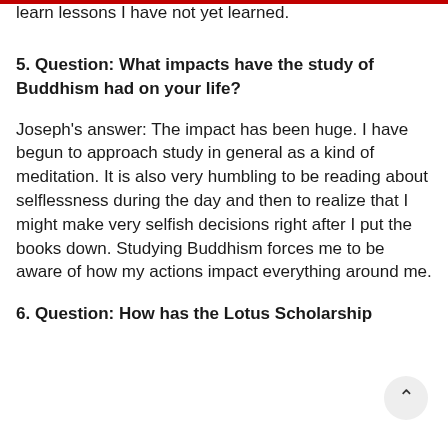learn lessons I have not yet learned.
5. Question:  What impacts have the study of Buddhism had on your life?
Joseph's answer:  The impact has been huge. I have begun to approach study in general as a kind of meditation. It is also very humbling to be reading about selflessness during the day and then to realize that I might make very selfish decisions right after I put the books down. Studying Buddhism forces me to be aware of how my actions impact everything around me.
6. Question:  How has the Lotus Scholarship